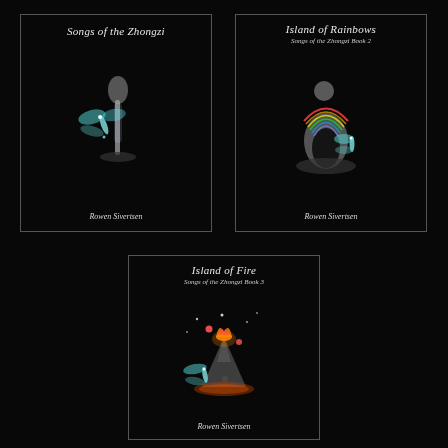[Figure (illustration): Book cover for 'Songs of the Zhongzi' by Rowen Sivertsen. Black background with a glowing dragonfly-like creature and ethereal plant/smoke form. White border frame.]
[Figure (illustration): Book cover for 'Island of Rainbows: Songs of the Zhongzi Book 2' by Rowen Sivertsen. Black background with a stone arch/rainbow and colorful creature. White border frame.]
[Figure (illustration): Book cover for 'Island of Fire: Songs of the Zhongzi Book 3' by Rowen Sivertsen. Black background with a volcano erupting with fire and a colorful dragonfly-like creature. White border frame.]